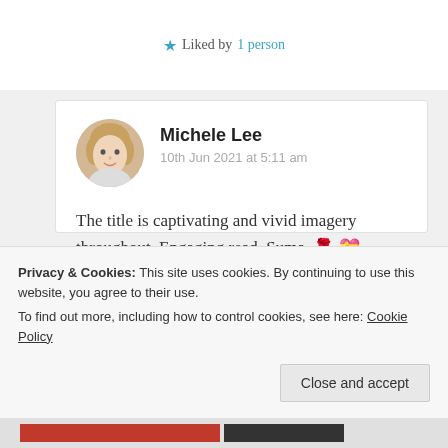Liked by 1 person
Michele Lee
10th Jun 2021 at 5:11 am
The title is captivating and vivid imagery throughout. Engaging read, Suma. 🌹 💝
Liked by 2 people
Log in to Reply
Privacy & Cookies: This site uses cookies. By continuing to use this website, you agree to their use.
To find out more, including how to control cookies, see here: Cookie Policy
Close and accept